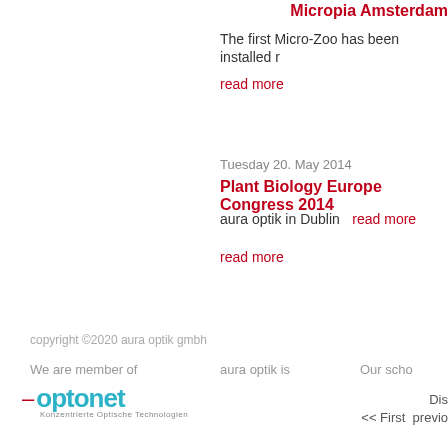Micropia Amsterdam
The first Micro-Zoo has been installed r…
read more
Tuesday 20. May 2014
Plant Biology Europe Congress 2014
aura optik in Dublin  read more
read more
Dis…
<< First  previo…
copyright ©2020 aura optik gmbh
We are member of
aura optik is
Our scho…
[Figure (logo): Optonet logo with arrow and subtitle text]